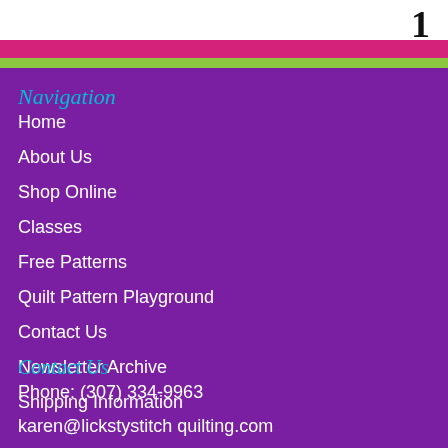1
Navigation
Home
About Us
Shop Online
Classes
Free Patterns
Quilt Pattern Playground
Contact Us
Newsletter Archive
Shipping Information
Contact Us
Phone: (307) 334-9963
karen@lickstystitch quilting.com